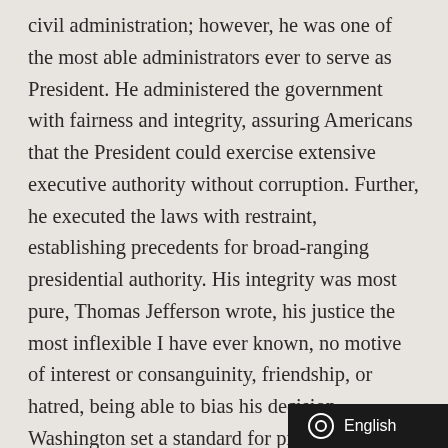civil administration; however, he was one of the most able administrators ever to serve as President. He administered the government with fairness and integrity, assuring Americans that the President could exercise extensive executive authority without corruption. Further, he executed the laws with restraint, establishing precedents for broad-ranging presidential authority. His integrity was most pure, Thomas Jefferson wrote, his justice the most inflexible I have ever known, no motive of interest or consanguinity, friendship, or hatred, being able to bias his decision. Washington set a standard for presidential integrity rarely met by his successors, although he established an ideal by which they all are judged.